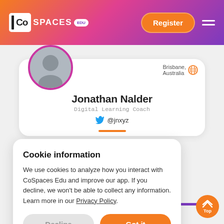[Figure (screenshot): CoSpaces Edu website header with logo, Register button, and hamburger menu on gradient orange-to-purple background]
Jonathan Nalder
Digital Learning Coach
@jnxyz
Brisbane, Australia
Cookie information
We use cookies to analyze how you interact with CoSpaces Edu and improve our app. If you decline, we won't be able to collect any information. Learn more in our Privacy Policy.